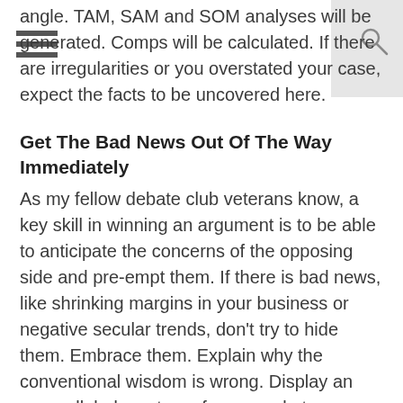angle. TAM, SAM and SOM analyses will be generated. Comps will be calculated. If there are irregularities or you overstated your case, expect the facts to be uncovered here.
Get The Bad News Out Of The Way Immediately
As my fellow debate club veterans know, a key skill in winning an argument is to be able to anticipate the concerns of the opposing side and pre-empt them. If there is bad news, like shrinking margins in your business or negative secular trends, don't try to hide them. Embrace them. Explain why the conventional wisdom is wrong. Display an unparalleled mastery of your market.